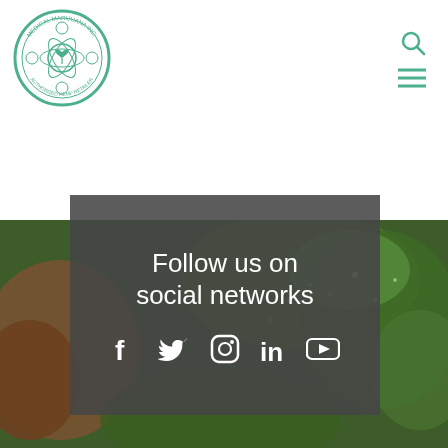[Figure (logo): Medical Marijuana Inc. circular logo with green border, cannabis leaf and science icons]
[Figure (photo): Close-up macro photograph of a cannabis bud with green leaves as background]
Follow us on social networks
[Figure (infographic): Social media icons: Facebook, Twitter, Instagram, LinkedIn, YouTube in white on dark background]